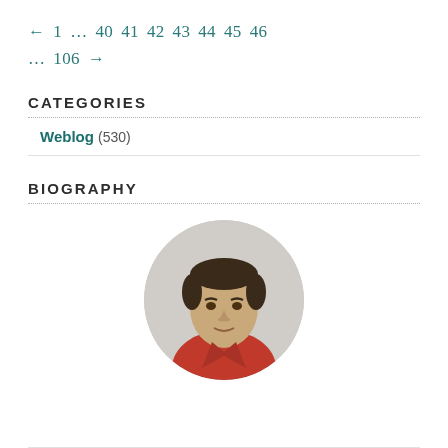← 1 … 40 41 42 43 44 45 46 … 106 →
CATEGORIES
Weblog (530)
BIOGRAPHY
[Figure (photo): Circular headshot of a man with dark hair wearing a red shirt, facing the camera slightly from the side.]